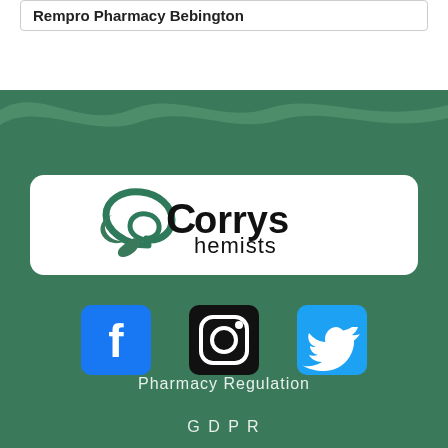Rempro Pharmacy Bebington
[Figure (illustration): Wave-shaped green decorative background divider with lighter green wave layer behind, transitioning from white to dark green]
[Figure (logo): Corrys Chemists logo: dark teal swirl C mark with black text 'Corrys' and 'hemists', inside a white rounded rectangle box]
[Figure (infographic): Three social media icons: Facebook (blue square with white f), Instagram (black square with camera outline), Twitter (blue square with white bird)]
Pharmacy Regulation
GDPR